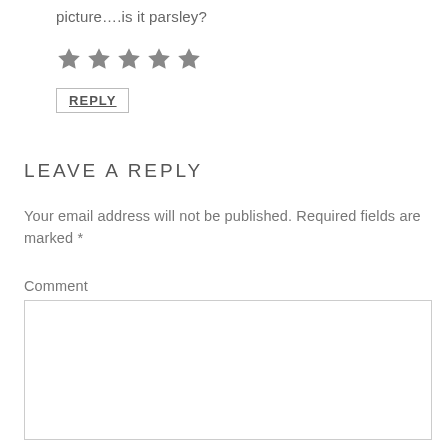picture….is it parsley?
[Figure (other): Five filled star icons representing a 5-star rating]
REPLY
LEAVE A REPLY
Your email address will not be published. Required fields are marked *
Comment